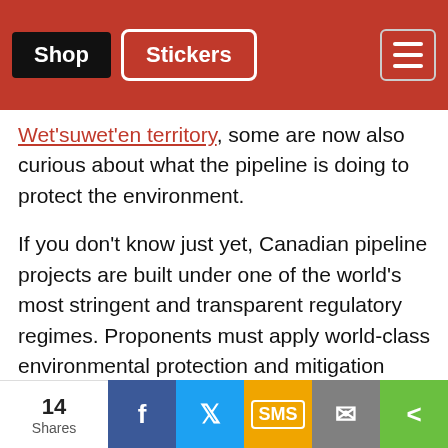Shop | Stickers
Wet'suwet'en territory, some are now also curious about what the pipeline is doing to protect the environment.
If you don't know just yet, Canadian pipeline projects are built under one of the world's most stringent and transparent regulatory regimes. Proponents must apply world-class environmental protection and mitigation techniques while monitoring wildlife every step of the way -- as required under Canadian law. The Coastal GasLink project is no different.
So then, what exactly are CGL workers doing to
14 Shares | Facebook | Twitter | SMS | Email | Share